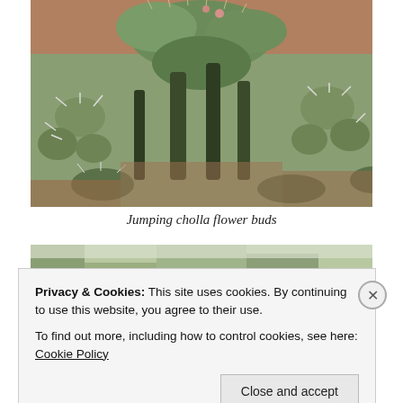[Figure (photo): Close-up photograph of jumping cholla cactus (Cylindropuntia fulgida) showing spiny pads and flower buds, with reddish desert ground visible in background.]
Jumping cholla flower buds
[Figure (photo): Partial photograph of desert landscape with cacti, partially obscured by cookie consent banner.]
Privacy & Cookies: This site uses cookies. By continuing to use this website, you agree to their use.
To find out more, including how to control cookies, see here: Cookie Policy
Close and accept